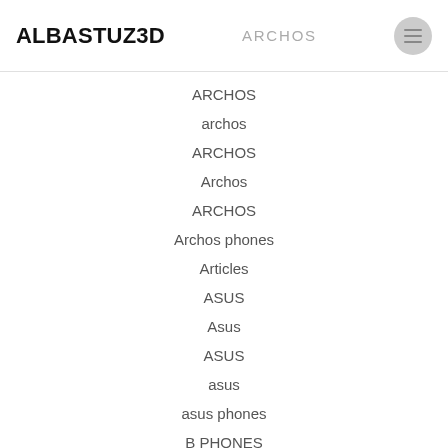ALBASTUZ3D  ARCHOS
ARCHOS
archos
ARCHOS
Archos
ARCHOS
Archos phones
Articles
ASUS
Asus
ASUS
asus
asus phones
B PHONES